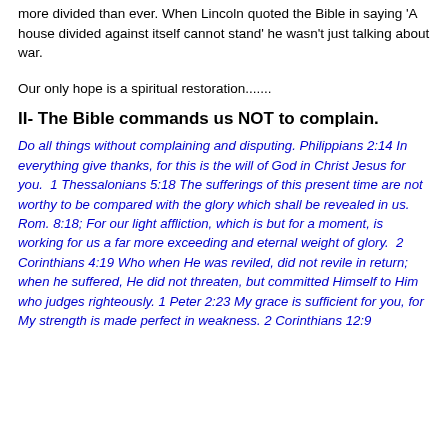more divided than ever. When Lincoln quoted the Bible in saying 'A house divided against itself cannot stand' he wasn't just talking about war.
Our only hope is a spiritual restoration.......
II- The Bible commands us NOT to complain.
Do all things without complaining and disputing. Philippians 2:14 In everything give thanks, for this is the will of God in Christ Jesus for you.  1 Thessalonians 5:18 The sufferings of this present time are not worthy to be compared with the glory which shall be revealed in us. Rom. 8:18; For our light affliction, which is but for a moment, is working for us a far more exceeding and eternal weight of glory.  2 Corinthians 4:19 Who when He was reviled, did not revile in return; when he suffered, He did not threaten, but committed Himself to Him who judges righteously. 1 Peter 2:23 My grace is sufficient for you, for My strength is made perfect in weakness. 2 Corinthians 12:9